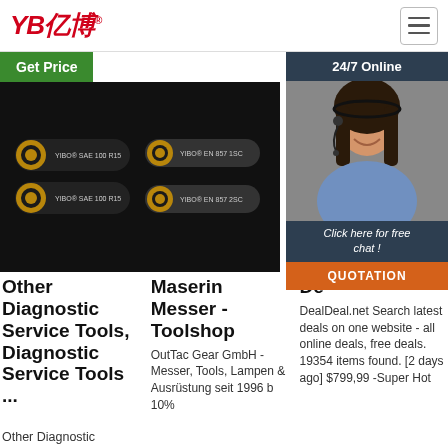YB亿博® — navigation header with hamburger menu
Get Price
[Figure (screenshot): 24/7 Online chat widget with female customer service agent photo, 'Click here for free chat!' text, and orange QUOTATION button]
[Figure (photo): Four black hydraulic hoses: top-left YIBO SAE 100 R15, bottom-left YIBO SAE 100 R15, top-right YIBO EN 857 1SC, bottom-right YIBO EN 857 2SC, on black background]
Other Diagnostic Service Tools, Diagnostic Service Tools ...
Maserin Messer - Toolshop
OutTac Gear GmbH - Messer, Tools, Lampen & Ausrüstung seit 1996 b 10%
De
DealDeal.net Search latest deals on one website - all online deals, free deals. 19354 items found. [2 days ago] $799,99 -Super Hot